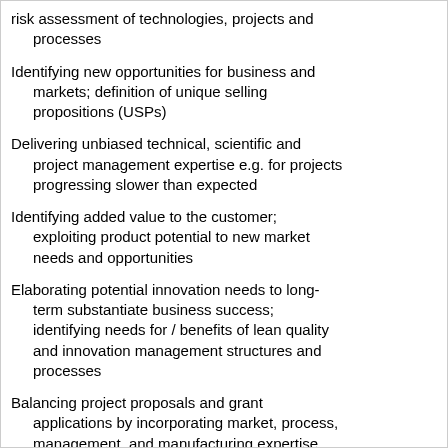risk assessment of technologies, projects and processes
Identifying new opportunities for business and markets; definition of unique selling propositions (USPs)
Delivering unbiased technical, scientific and project management expertise e.g. for projects progressing slower than expected
Identifying added value to the customer; exploiting product potential to new market needs and opportunities
Elaborating potential innovation needs to long-term substantiate business success; identifying needs for / benefits of lean quality and innovation management structures and processes
Balancing project proposals and grant applications by incorporating market, process, management, and manufacturing expertise
Supplementing scientific culture with market...